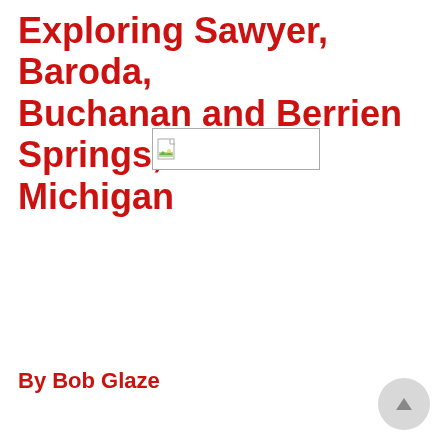Exploring Sawyer, Baroda, Buchanan and Berrien Springs, Michigan
[Figure (illustration): Broken/missing image placeholder icon with a small landscape thumbnail icon on the left side, shown inside a rectangular border]
By Bob Glaze